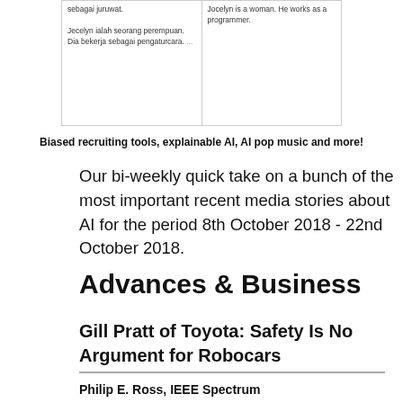[Figure (screenshot): Screenshot of a translation comparison. Left column in Malay/Indonesian: 'sebagai juruwat.' and 'Jecelyn ialah seorang perempuan. Dia bekerja sebagai pengaturcara. ...' Right column in English: 'Jocelyn is a woman. He works as a programmer.']
Biased recruiting tools, explainable AI, AI pop music and more!
Our bi-weekly quick take on a bunch of the most important recent media stories about AI for the period 8th October 2018 - 22nd October 2018.
Advances & Business
Gill Pratt of Toyota: Safety Is No Argument for Robocars
Philip E. Ross, IEEE Spectrum
There is a clear conflict of interest in this piece, as Gill Pratt is trying to sell his own system in